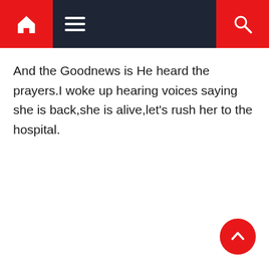Navigation bar with home icon, menu icon, and search icon
And the Goodnews is He heard the prayers.I woke up hearing voices saying she is back,she is alive,let's rush her to the hospital.